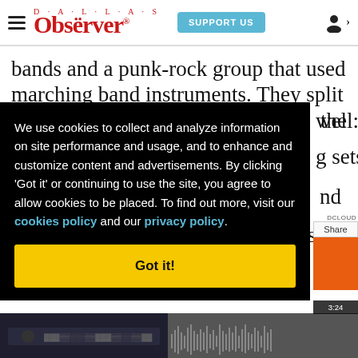Dallas Observer — SUPPORT US
bands and a punk-rock group that used marching band instruments. They split up the well: g sets, nd says,
We use cookies to collect and analyze information on site performance and usage, and to enhance and customize content and advertisements. By clicking 'Got it' or continuing to use the site, you agree to allow cookies to be placed. To find out more, visit our cookies policy and our privacy policy.
Got it!